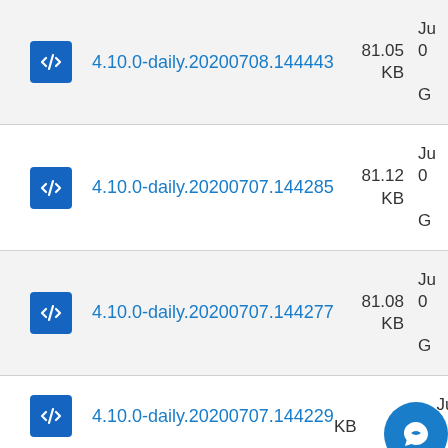4.10.0-daily.20200708.144443 81.05 KB
4.10.0-daily.20200707.144285 81.12 KB
4.10.0-daily.20200707.144277 81.08 KB
4.10.0-daily.20200707.144229 KB